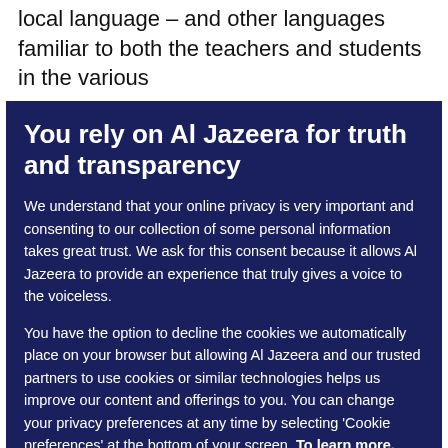local language – and other languages familiar to both the teachers and students in the various
You rely on Al Jazeera for truth and transparency
We understand that your online privacy is very important and consenting to our collection of some personal information takes great trust. We ask for this consent because it allows Al Jazeera to provide an experience that truly gives a voice to the voiceless.
You have the option to decline the cookies we automatically place on your browser but allowing Al Jazeera and our trusted partners to use cookies or similar technologies helps us improve our content and offerings to you. You can change your privacy preferences at any time by selecting 'Cookie preferences' at the bottom of your screen. To learn more, please view our Cookie Policy.